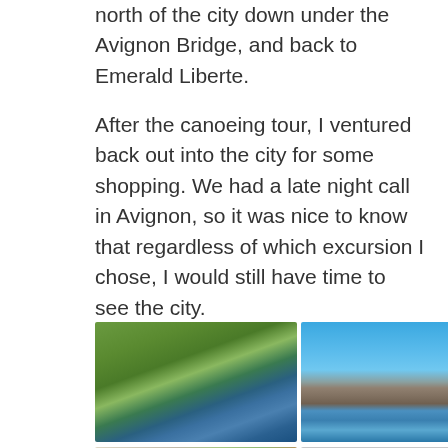north of the city down under the Avignon Bridge, and back to Emerald Liberte.
After the canoeing tour, I ventured back out into the city for some shopping. We had a late night call in Avignon, so it was nice to know that regardless of which excursion I chose, I would still have time to see the city.
[Figure (photo): Selfie of a blonde woman wearing blue life jacket and sunglasses on a river with green trees in background]
[Figure (photo): Photo of the Avignon Bridge (Pont Saint-Bénézet) over the Rhône river under a clear blue sky with kayakers visible]
[Figure (photo): Photo of an outdoor art display with colorful paintings including fields of flowers]
[Figure (photo): Photo of window blinds in a room, horizontal slat blinds]